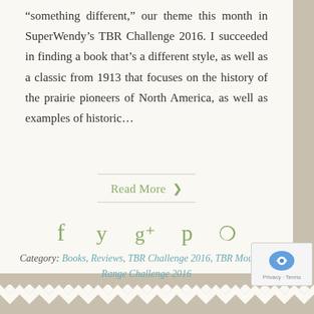“something different,” our theme this month in SuperWendy’s TBR Challenge 2016. I succeeded in finding a book that’s a different style, as well as a classic from 1913 that focuses on the history of the prairie pioneers of North America, as well as examples of historic…
Read More >
[Figure (other): Social media share icons: Facebook, Twitter, Google+, Pinterest, Comment]
Category: Books, Reviews, TBR Challenge 2016, TBR Mountain Range Challenge 2016